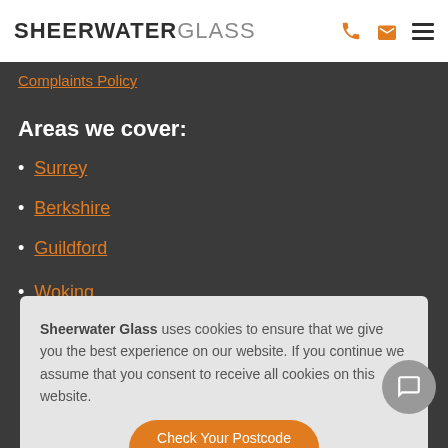SHEERWATER GLASS
Complaints Policy
Areas we cover:
Surrey
Berkshire
Guildford
Woking
Sheerwater Glass uses cookies to ensure that we give you the best experience on our website. If you continue we assume that you consent to receive all cookies on this website.
Accept
Check Your Postcode